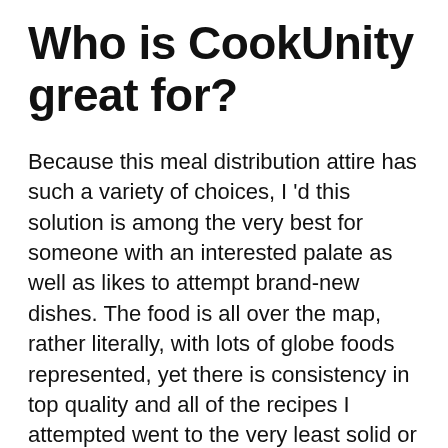Who is CookUnity great for?
Because this meal distribution attire has such a variety of choices, I 'd this solution is among the very best for someone with an interested palate as well as likes to attempt brand-new dishes. The food is all over the map, rather literally, with lots of globe foods represented, yet there is consistency in top quality and all of the recipes I attempted went to the very least solid or much better.
There are lots of healthy and balanced, low-carb, vegan and paleo alternatives so this is a good meal delivery solution if you're